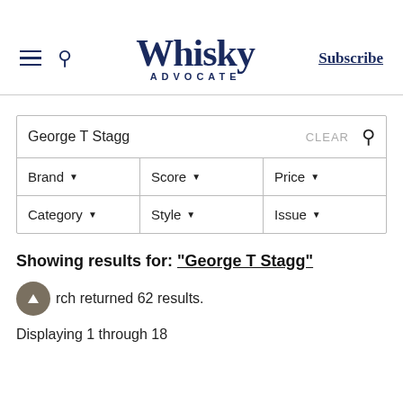Whisky Advocate — Subscribe
George T Stagg  CLEAR 🔍
Brand ▾  Score ▾  Price ▾
Category ▾  Style ▾  Issue ▾
Showing results for: "George T Stagg"
Your search returned 62 results.
Displaying 1 through 18